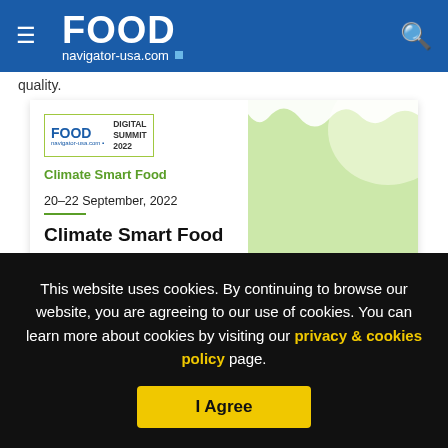FOOD navigator-usa.com
quality.
[Figure (screenshot): Food Navigator Digital Summit 2022 Climate Smart Food event banner showing date 20-22 September, 2022 and title 'Climate Smart Food — Strategies for surviving and thriving in the climate...' with green plant background image on right]
This website uses cookies. By continuing to browse our website, you are agreeing to our use of cookies. You can learn more about cookies by visiting our privacy & cookies policy page.
I Agree